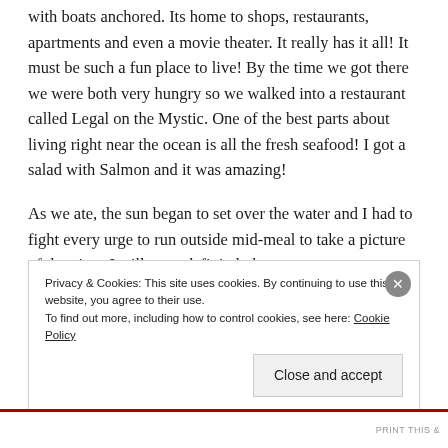with boats anchored. Its home to shops, restaurants, apartments and even a movie theater. It really has it all! It must be such a fun place to live! By the time we got there we were both very hungry so we walked into a restaurant called Legal on the Mystic. One of the best parts about living right near the ocean is all the fresh seafood! I got a salad with Salmon and it was amazing!
As we ate, the sun began to set over the water and I had to fight every urge to run outside mid-meal to take a picture of the view. I will most definitely be
Privacy & Cookies: This site uses cookies. By continuing to use this website, you agree to their use.
To find out more, including how to control cookies, see here: Cookie Policy
Close and accept